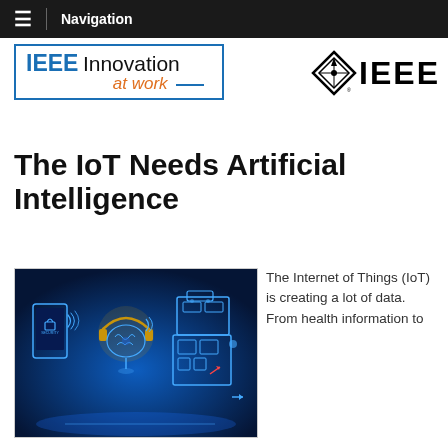Navigation
[Figure (logo): IEEE Innovation at work logo — blue bordered box with IEEE in bold blue, Innovation in black, at work in orange italic]
[Figure (logo): IEEE diamond logo with compass rose and IEEE text in black]
The IoT Needs Artificial Intelligence
[Figure (illustration): Blue glowing digital illustration showing a smartphone with lock icon, a brain with headphones, and a robot/building schematic connected by signal waves on a blue background]
The Internet of Things (IoT) is creating a lot of data. From health information to